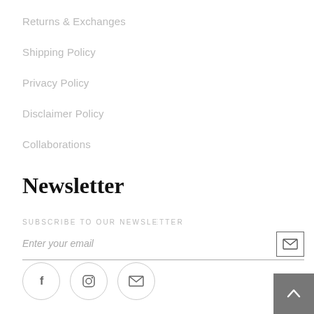Returns & Exchanges
Shipping Policy
Privacy Policy
Disclaimer Policy
Collaborations
Newsletter
SUBSCRIBE TO OUR NEWSLETTER
Enter your email
[Figure (infographic): Social media icons: Facebook (f), Instagram (camera), Email (envelope) in circular borders; back-to-top arrow button in grey square]